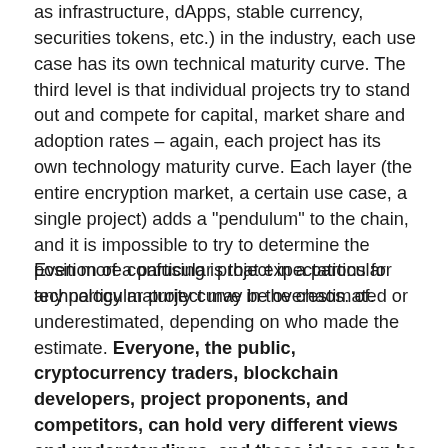as infrastructure, dApps, stable currency, securities tokens, etc.) in the industry, each use case has its own technical maturity curve. The third level is that individual projects try to stand out and compete for capital, market share and adoption rates – again, each project has its own technology maturity curve. Each layer (the entire encryption market, a certain use case, a single project) adds a "pendulum" to the chain, and it is impossible to try to determine the position of a particular project in a particular technology maturity curve in the chaos. of.
Even more confusing is that expectations for any particular project may be overestimated or underestimated, depending on who made the estimate. Everyone, the public, cryptocurrency traders, blockchain developers, project proponents, and competitors, can hold very different views and understandings, and these ideas can be amplified and filtered through social media.